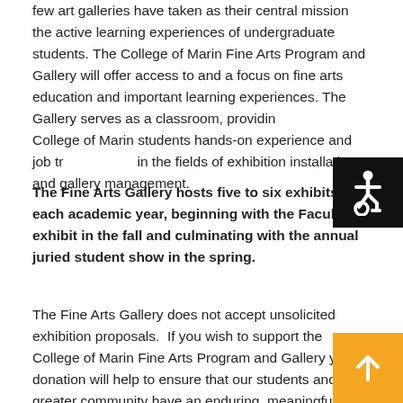few art galleries have taken as their central mission the active learning experiences of undergraduate students. The College of Marin Fine Arts Program and Gallery will offer access to and a focus on fine arts education and important learning experiences. The Gallery serves as a classroom, providing College of Marin students hands-on experience and job training in the fields of exhibition installation and gallery management.
The Fine Arts Gallery hosts five to six exhibits each academic year, beginning with the Faculty exhibit in the fall and culminating with the annual juried student show in the spring.
The Fine Arts Gallery does not accept unsolicited exhibition proposals.  If you wish to support the College of Marin Fine Arts Program and Gallery your donation will help to ensure that our students and the greater community have an enduring, meaningful and creative means of teaching, learning, exploring, questioning and engaging with the world of fine arts.